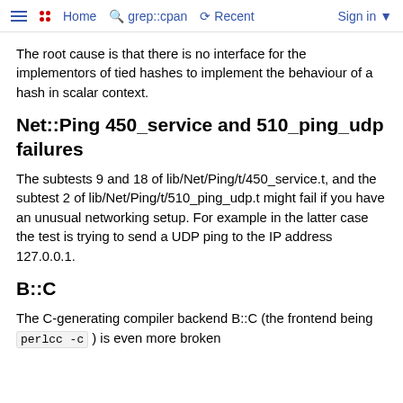Home   grep::cpan   Recent   Sign in
The root cause is that there is no interface for the implementors of tied hashes to implement the behaviour of a hash in scalar context.
Net::Ping 450_service and 510_ping_udp failures
The subtests 9 and 18 of lib/Net/Ping/t/450_service.t, and the subtest 2 of lib/Net/Ping/t/510_ping_udp.t might fail if you have an unusual networking setup. For example in the latter case the test is trying to send a UDP ping to the IP address 127.0.0.1.
B::C
The C-generating compiler backend B::C (the frontend being perlcc -c ) is even more broken